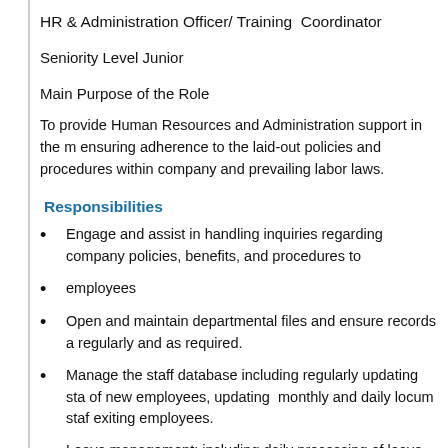HR & Administration Officer/ Training Coordinator
Seniority Level Junior
Main Purpose of the Role
To provide Human Resources and Administration support in the m ensuring adherence to the laid-out policies and procedures within company and prevailing labor laws.
Responsibilities
Engage and assist in handling inquiries regarding company policies, benefits, and procedures to
employees
Open and maintain departmental files and ensure records a regularly and as required.
Manage the staff database including regularly updating sta of new employees, updating monthly and daily locum staf exiting employees.
Leave management; including daily processing of leave ap